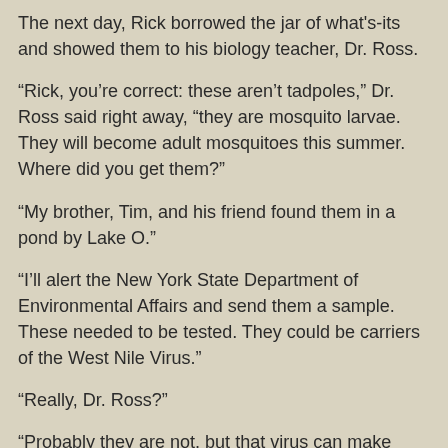The next day, Rick borrowed the jar of what's-its and showed them to his biology teacher, Dr. Ross.
“Rick, you’re correct: these aren’t tadpoles,” Dr. Ross said right away, “they are mosquito larvae. They will become adult mosquitoes this summer. Where did you get them?”
“My brother, Tim, and his friend found them in a pond by Lake O.”
“I’ll alert the New York State Department of Environmental Affairs and send them a sample. These needed to be tested. They could be carriers of the West Nile Virus.”
“Really, Dr. Ross?”
“Probably they are not, but that virus can make people very sick, and insect bites often do cause...